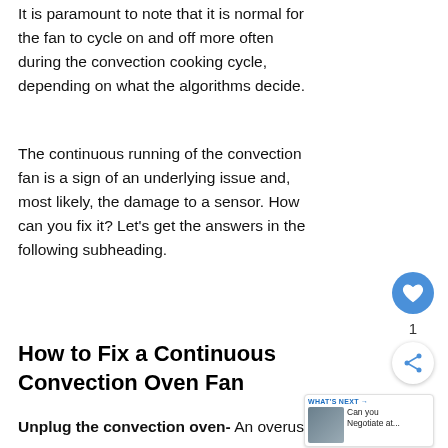It is paramount to note that it is normal for the fan to cycle on and off more often during the convection cooking cycle, depending on what the algorithms decide.
The continuous running of the convection fan is a sign of an underlying issue and, most likely, the damage to a sensor. How can you fix it? Let's get the answers in the following subheading.
How to Fix a Continuous Convection Oven Fan
Unplug the convection oven- An overused